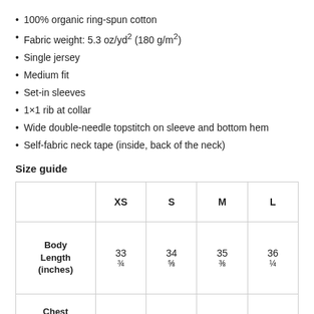100% organic ring-spun cotton
Fabric weight: 5.3 oz/yd² (180 g/m²)
Single jersey
Medium fit
Set-in sleeves
1×1 rib at collar
Wide double-needle topstitch on sleeve and bottom hem
Self-fabric neck tape (inside, back of the neck)
Size guide
|  | XS | S | M | L |
| --- | --- | --- | --- | --- |
| Body Length (inches) | 33 ¾ | 34 ⅝ | 35 ⅜ | 36 ¼ |
| Chest |  |  |  |  |